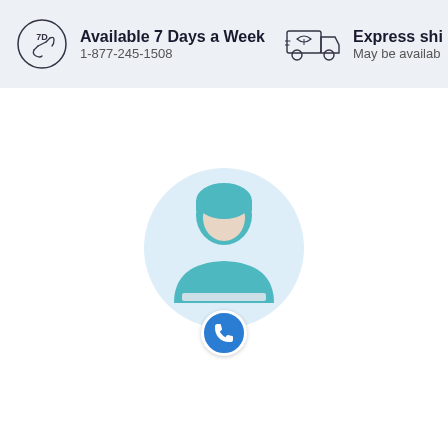Available 7 Days a Week
1-877-245-1508
Express shi...
May be availab...
[Figure (illustration): Person avatar with teal shirt sitting at a desk, shown in a light blue circle, with a blue phone icon badge at the bottom center]